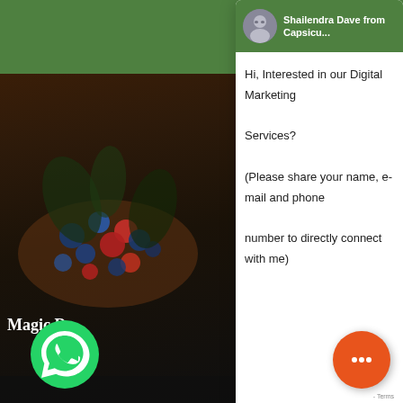[Figure (screenshot): Website background with green header bar and dark image panel showing colorful berries/spices on left side. Text overlay reads 'Magic' and 'company in India'.]
[Figure (screenshot): WhatsApp chat popup widget with profile avatar of Shailendra Dave from Capsicu..., showing a message: 'Hi, Interested in our Digital Marketing Services? (Please share your name, e-mail and phone number to directly connect with me)' and a message input bar at bottom.]
[Figure (logo): WhatsApp green phone icon in bottom left corner.]
[Figure (other): Orange circular chat bubble icon with three dots in bottom right corner.]